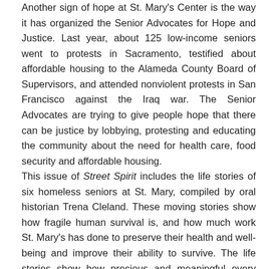Another sign of hope at St. Mary's Center is the way it has organized the Senior Advocates for Hope and Justice. Last year, about 125 low-income seniors went to protests in Sacramento, testified about affordable housing to the Alameda County Board of Supervisors, and attended nonviolent protests in San Francisco against the Iraq war. The Senior Advocates are trying to give people hope that there can be justice by lobbying, protesting and educating the community about the need for health care, food security and affordable housing.
This issue of Street Spirit includes the life stories of six homeless seniors at St. Mary, compiled by oral historian Trena Cleland. These moving stories show how fragile human survival is, and how much work St. Mary's has done to preserve their health and well-being and improve their ability to survive. The life stories show how precious and meaningful every human life is, including the lives of those written off by society.
The most important life-saving act that St. Mary's performs may be the way it affirms the worth and respects the dignity of homeless